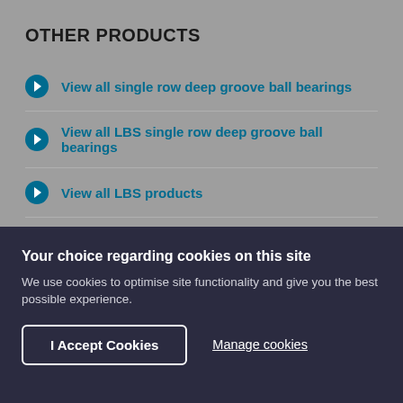OTHER PRODUCTS
View all single row deep groove ball bearings
View all LBS single row deep groove ball bearings
View all LBS products
Your choice regarding cookies on this site
We use cookies to optimise site functionality and give you the best possible experience.
I Accept Cookies
Manage cookies